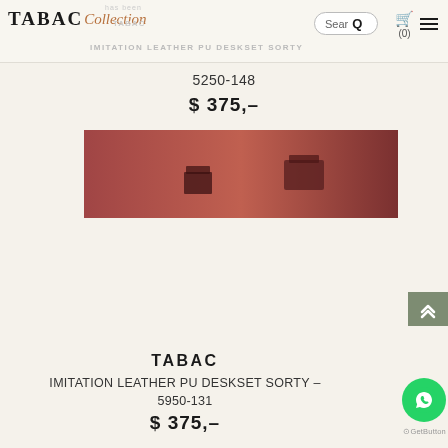TABAC Collection | IMITATION LEATHER PU DESKSET SORTY | Search | (0)
5250-148
$ 375,–
[Figure (photo): Close-up photo of a dark brownish-red imitation leather desk set product on a reddish-brown gradient background]
TABAC
IMITATION LEATHER PU DESKSET SORTY – 5950-131
$ 375,–